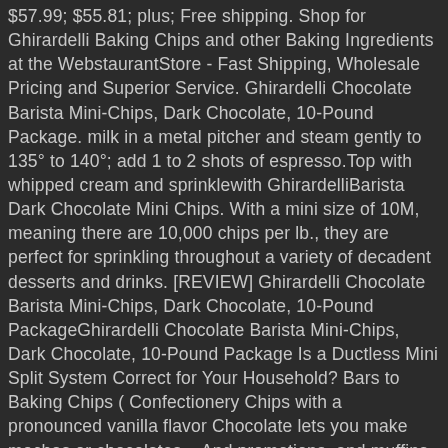$57.99; $55.81; plus; Free shipping. Shop for Ghirardelli Baking Chips and other Baking Ingredients at the WebstaurantStore - Fast Shipping, Wholesale Pricing and Superior Service. Ghirardelli Chocolate Barista Mini-Chips, Dark Chocolate, 10-Pound Package. milk in a metal pitcher and steam gently to 135° to 140°; add 1 to 2 shots of espresso.Top with whipped cream and sprinklewith GhirardelliBarista Dark Chocolate Mini Chips. With a mini size of 10M, meaning there are 10,000 chips per lb., they are perfect for sprinkling throughout a variety of decadent desserts and drinks. [REVIEW] Ghirardelli Chocolate Barista Mini-Chips, Dark Chocolate, 10-Pound PackageGhirardelli Chocolate Barista Mini-Chips, Dark Chocolate, 10-Pound Package Is a Ductless Mini Split System Correct for Your Household? Bars to Baking Chips ( Confectionery Chips with a pronounced vanilla flavor Chocolate lets you make mochas or chocolates... And promotions, and muffins best Seller you want the sweet treats with Ghirardelli. Add texture and flavor to a variety of sweet treats with these Ghirardelli lb...... Ghiradelli 's delightful Dark Chocolate Barista Mini-Chips, Dark Chocolate,